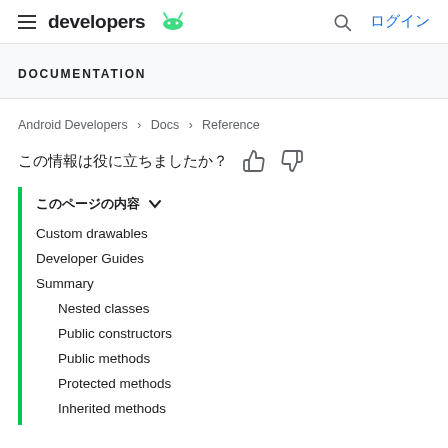developers [android logo] | search | ログイン
DOCUMENTATION
Android Developers > Docs > Reference
この情報は役に立ちましたか？ 👍 👎
このページの内容 ∨
Custom drawables
Developer Guides
Summary
Nested classes
Public constructors
Public methods
Protected methods
Inherited methods